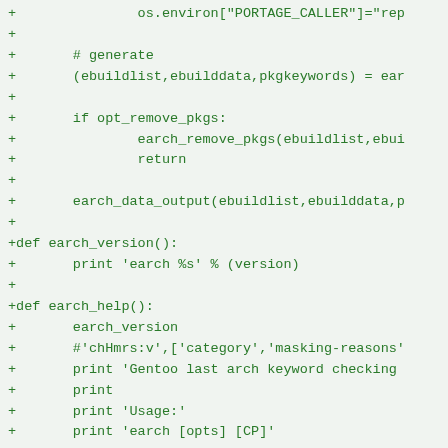[Figure (screenshot): A code diff snippet showing Python source code additions (lines prefixed with '+') including os.environ assignment, generate comment, ebuildlist/ebuilddata/pkgkeywords tuple assignment, conditional opt_remove_pkgs block, earch_data_output call, earch_version function definition, earch_help function definition with print statements.]